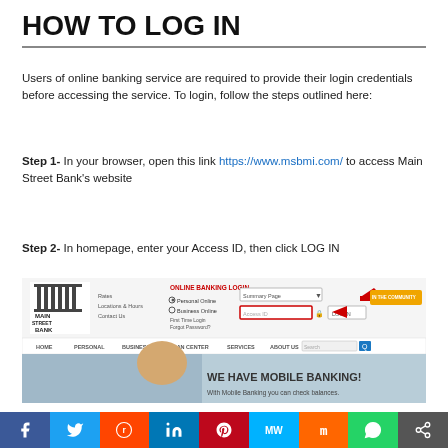HOW TO LOG IN
Users of online banking service are required to provide their login credentials before accessing the service. To login, follow the steps outlined here:
Step 1- In your browser, open this link https://www.msbmi.com/ to access Main Street Bank's website
Step 2- In homepage, enter your Access ID, then click LOG IN
[Figure (screenshot): Screenshot of Main Street Bank website homepage showing ONLINE BANKING LOGIN section with Access ID field highlighted and arrow pointing to LOG IN button, and a mobile banking promotional banner below with social sharing bar at bottom.]